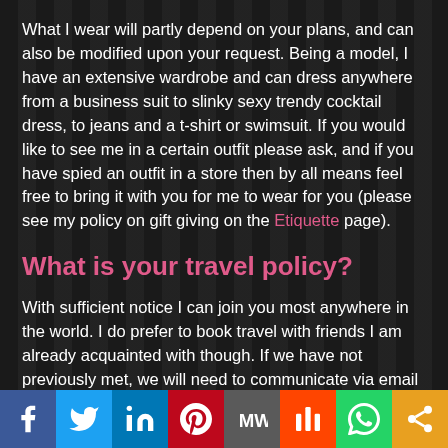What I wear will partly depend on your plans, and can also be modified upon your request. Being a model, I have an extensive wardrobe and can dress anywhere from a business suit to slinky sexy trendy cocktail dress, to jeans and a t-shirt or swimsuit. If you would like to see me in a certain outfit please ask, and if you have spied an outfit in a store then by all means feel free to bring it with you for me to wear for you (please see my policy on gift giving on the Etiquette page).
What is your travel policy?
With sufficient notice I can join you most anywhere in the world. I do prefer to book travel with friends I am already acquainted with though. If we have not previously met, we will need to communicate via email and phone to verify